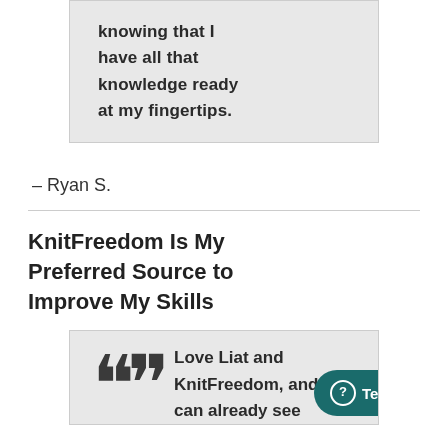knowing that I have all that knowledge ready at my fingertips.
– Ryan S.
KnitFreedom Is My Preferred Source to Improve My Skills
Love Liat and KnitFreedom, and I can already see